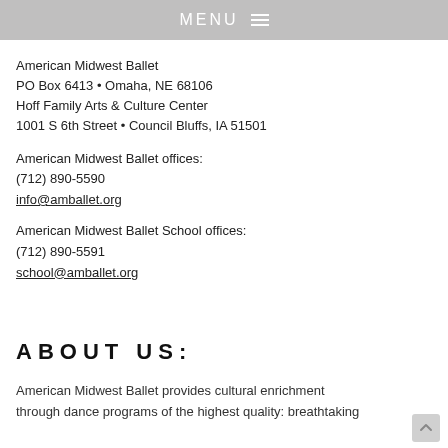MENU
American Midwest Ballet
PO Box 6413 • Omaha, NE 68106
Hoff Family Arts & Culture Center
1001 S 6th Street • Council Bluffs, IA 51501
American Midwest Ballet offices:
(712) 890-5590
info@amballet.org
American Midwest Ballet School offices:
(712) 890-5591
school@amballet.org
ABOUT US:
American Midwest Ballet provides cultural enrichment through dance programs of the highest quality: breathtaking